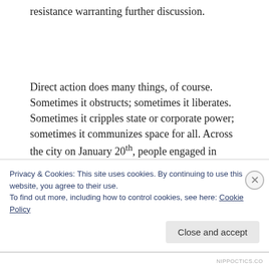resistance warranting further discussion.
Direct action does many things, of course. Sometimes it obstructs; sometimes it liberates. Sometimes it cripples state or corporate power; sometimes it communizes space for all. Across the city on January 20th, people engaged in direct action...
Privacy & Cookies: This site uses cookies. By continuing to use this website, you agree to their use.
To find out more, including how to control cookies, see here: Cookie Policy
Close and accept